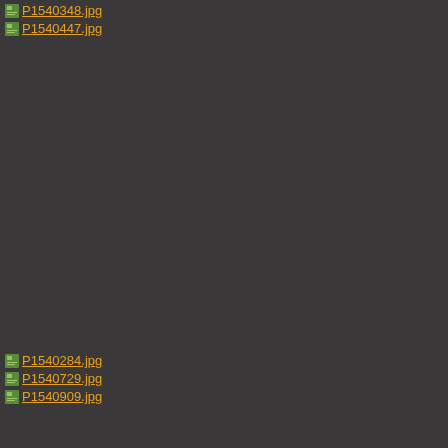P1540348.jpg
P1540447.jpg
P1540284.jpg
P1540729.jpg
P1540909.jpg